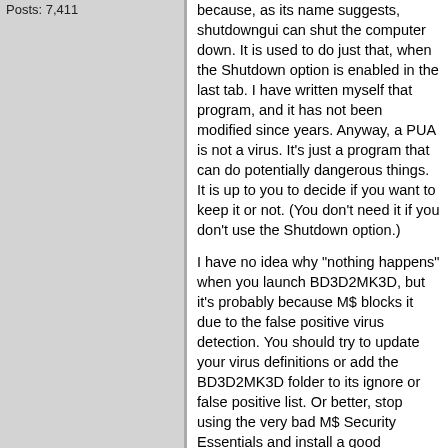Posts: 7,411
because, as its name suggests, shutdowngui can shut the computer down. It is used to do just that, when the Shutdown option is enabled in the last tab. I have written myself that program, and it has not been modified since years. Anyway, a PUA is not a virus. It's just a program that can do potentially dangerous things. It is up to you to decide if you want to keep it or not. (You don't need it if you don't use the Shutdown option.)

I have no idea why "nothing happens" when you launch BD3D2MK3D, but it's probably because M$ blocks it due to the false positive virus detection. You should try to update your virus definitions or add the BD3D2MK3D folder to its ignore or false positive list. Or better, stop using the very bad M$ Security Essentials and install a good antivirus. Avast, Avira, AVG and Panda are free and already much better that the M$ SE. You may also want to scan BD3D2MK3D.exe and/or the other programs in the toolset folder with VirusTotal, just to be sure. But the scan I did was made